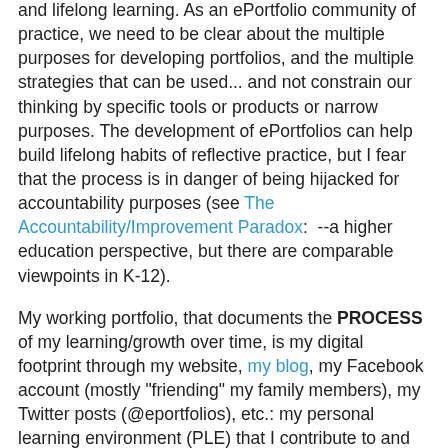and lifelong learning. As an ePortfolio community of practice, we need to be clear about the multiple purposes for developing portfolios, and the multiple strategies that can be used... and not constrain our thinking by specific tools or products or narrow purposes. The development of ePortfolios can help build lifelong habits of reflective practice, but I fear that the process is in danger of being hijacked for accountability purposes (see The Accountability/Improvement Paradox:  --a higher education perspective, but there are comparable viewpoints in K-12).
My working portfolio, that documents the PROCESS of my learning/growth over time, is my digital footprint through my website, my blog, my Facebook account (mostly "friending" my family members), my Twitter posts (@eportfolios), etc.: my personal learning environment (PLE) that I contribute to and learn from on a regular basis. This "portfolio-as-PROCESS" is a powerful environment for lifelong learning and reflection, with digital media adding a contemporary boost to an ages-old process. I also agree that smart phones and other mobile technologies (i.e., iPad, tablets) are going to be an important direction for more widespread adoption. This aggregation of my online presence is how I construct...